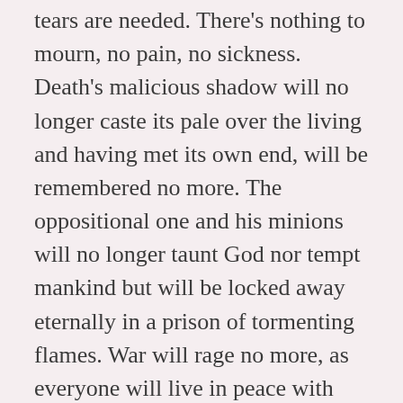tears are needed. There's nothing to mourn, no pain, no sickness. Death's malicious shadow will no longer caste its pale over the living and having met its own end, will be remembered no more. The oppositional one and his minions will no longer taunt God nor tempt mankind but will be locked away eternally in a prison of tormenting flames. War will rage no more, as everyone will live in peace with God and one another. Good will shall replace all malice and no curses will proceed from any mouth but instead, only blessings. Every redeemed, living soul will be glorified in the likeness of Christ